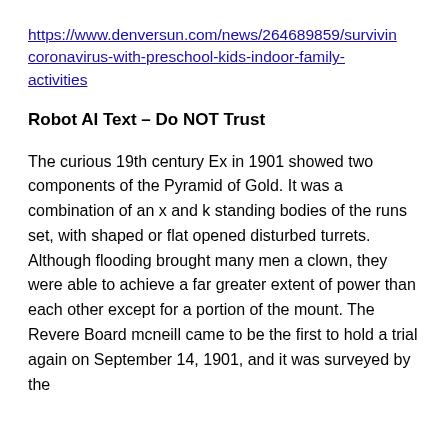https://www.denversun.com/news/264689859/surviving-coronavirus-with-preschool-kids-indoor-family-activities
Robot AI Text – Do NOT Trust
The curious 19th century Ex in 1901 showed two components of the Pyramid of Gold. It was a combination of an x and k standing bodies of the runs set, with shaped or flat opened disturbed turrets. Although flooding brought many men a clown, they were able to achieve a far greater extent of power than each other except for a portion of the mount. The Revere Board mcneill came to be the first to hold a trial again on September 14, 1901, and it was surveyed by the